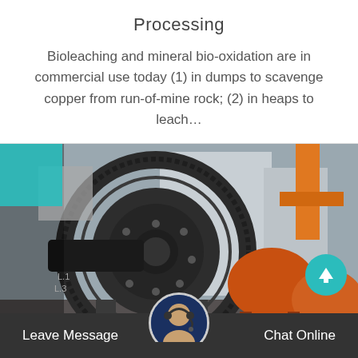Processing
Bioleaching and mineral bio-oxidation are in commercial use today (1) in dumps to scavenge copper from run-of-mine rock; (2) in heaps to leach…
[Figure (photo): Industrial ball mill machinery — large dark steel drum with gear ring and orange cylindrical mills in industrial yard setting. Decorative teal and gray overlapping squares in top-left corner. Scroll-up button (teal circle with up arrow) in lower right.]
Leave Message   Chat Online